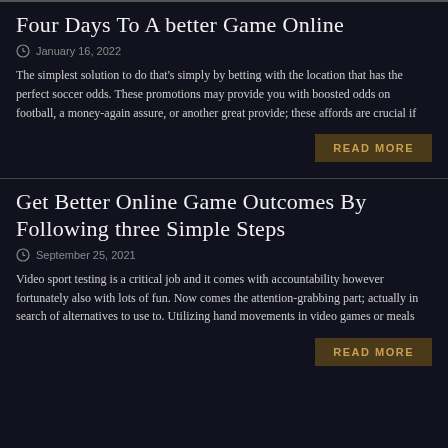Four Days To A better Game Online
January 16, 2022
The simplest solution to do that's simply by betting with the location that has the perfect soccer odds. These promotions may provide you with boosted odds on football, a money-again assure, or another great provide; these affords are crucial if
READ MORE
Get Better Online Game Outcomes By Following three Simple Steps
September 25, 2021
Video sport testing is a critical job and it comes with accountability however fortunately also with lots of fun. Now comes the attention-grabbing part; actually in search of alternatives to use to. Utilizing hand movements in video games or meals
READ MORE